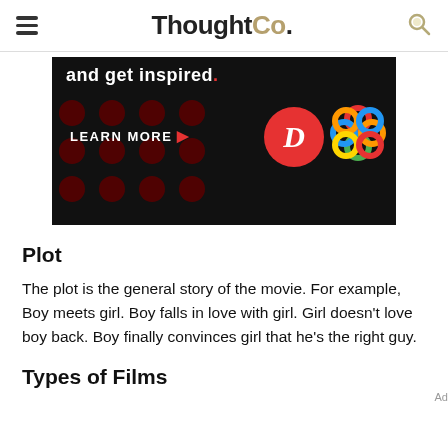ThoughtCo.
[Figure (infographic): Dark advertisement banner with text 'and get inspired.' with a red period, 'LEARN MORE' with a red arrow, dark red polka dot pattern on left, a red circle with a white italic D logo, and a colorful interlocking knot/flower logo on the right.]
Plot
The plot is the general story of the movie. For example, Boy meets girl. Boy falls in love with girl. Girl doesn't love boy back. Boy finally convinces girl that he's the right guy.
Types of Films